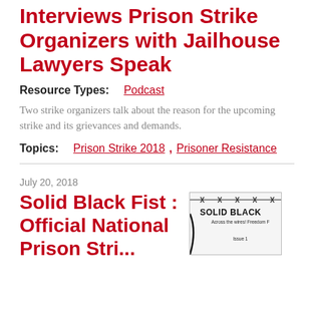Interviews Prison Strike Organizers with Jailhouse Lawyers Speak
Resource Types: Podcast
Two strike organizers talk about the reason for the upcoming strike and its grievances and demands.
Topics: Prison Strike 2018, Prisoner Resistance
July 20, 2018
Solid Black Fist : Official National Prison Strike...
[Figure (illustration): Thumbnail image showing the cover of Solid Black zine with barbed wire graphic, title SOLID BLACK, subtitle 'Across the wires! Freedom F', and 'Issue 1']